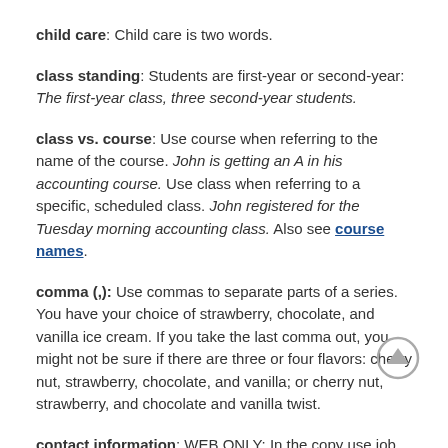child care: Child care is two words.
class standing: Students are first-year or second-year: The first-year class, three second-year students.
class vs. course: Use course when referring to the name of the course. John is getting an A in his accounting course. Use class when referring to a specific, scheduled class. John registered for the Tuesday morning accounting class. Also see course names.
comma (,): Use commas to separate parts of a series. You have your choice of strawberry, chocolate, and vanilla ice cream. If you take the last comma out, you might not be sure if there are three or four flavors: cherry nut, strawberry, chocolate, and vanilla; or cherry nut, strawberry, and chocolate and vanilla twist.
contact information: WEB ONLY: In the copy use job